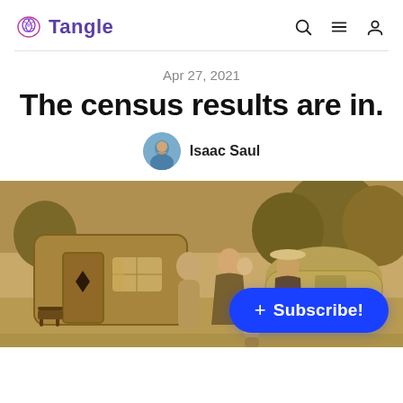Tangle
Apr 27, 2021
The census results are in.
Isaac Saul
[Figure (photo): Sepia-toned vintage photograph of a family standing outside a travel trailer/caravan, with trees in the background. A Subscribe! button overlay appears in the bottom right.]